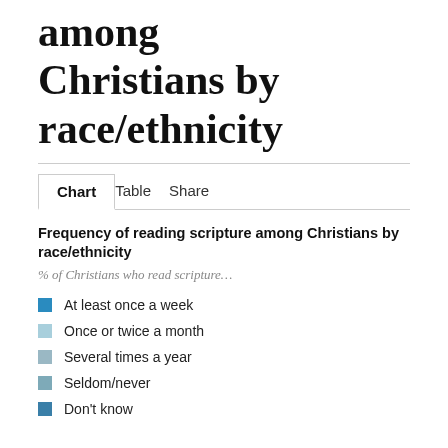among Christians by race/ethnicity
Chart | Table | Share
Frequency of reading scripture among Christians by race/ethnicity
% of Christians who read scripture…
At least once a week
Once or twice a month
Several times a year
Seldom/never
Don't know